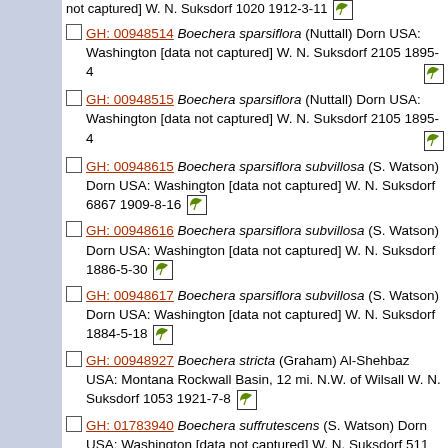GH: 00948514 Boechera sparsiflora (Nuttall) Dorn USA: Washington [data not captured] W. N. Suksdorf 2105 1895-4
GH: 00948515 Boechera sparsiflora (Nuttall) Dorn USA: Washington [data not captured] W. N. Suksdorf 2105 1895-4
GH: 00948615 Boechera sparsiflora subvillosa (S. Watson) Dorn USA: Washington [data not captured] W. N. Suksdorf 6867 1909-8-16
GH: 00948616 Boechera sparsiflora subvillosa (S. Watson) Dorn USA: Washington [data not captured] W. N. Suksdorf 1886-5-30
GH: 00948617 Boechera sparsiflora subvillosa (S. Watson) Dorn USA: Washington [data not captured] W. N. Suksdorf 1884-5-18
GH: 00948927 Boechera stricta (Graham) Al-Shehbaz USA: Montana Rockwall Basin, 12 mi. N.W. of Wilsall W. N. Suksdorf 1053 1921-7-8
GH: 01783940 Boechera suffrutescens (S. Watson) Dorn USA: Washington [data not captured] W. N. Suksdorf 511 1885-8-5